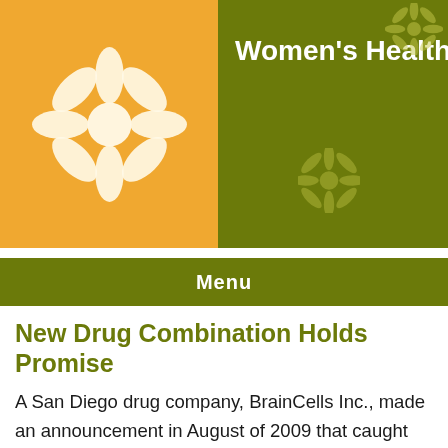Women's Health
Menu
New Drug Combination Holds Promise
A San Diego drug company, BrainCells Inc., made an announcement in August of 2009 that caught psychiatrists by surprise. A clinical trial conducted by BrainCells showed that depression sufferers found relief when treated with a strange